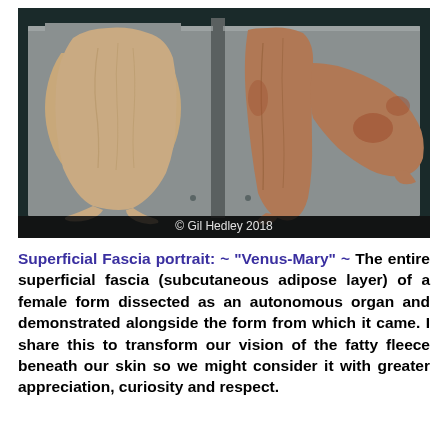[Figure (photo): Two cadaveric specimens laid on a stainless steel dissection table. The left specimen shows the superficial fascia (subcutaneous adipose layer) dissected from a female form. The right specimen shows the female form from which the fascia was removed. A copyright notice at the bottom reads '© Gil Hedley 2018'.]
Superficial Fascia portrait: ~ "Venus-Mary" ~ The entire superficial fascia (subcutaneous adipose layer) of a female form dissected as an autonomous organ and demonstrated alongside the form from which it came. I share this to transform our vision of the fatty fleece beneath our skin so we might consider it with greater appreciation, curiosity and respect.